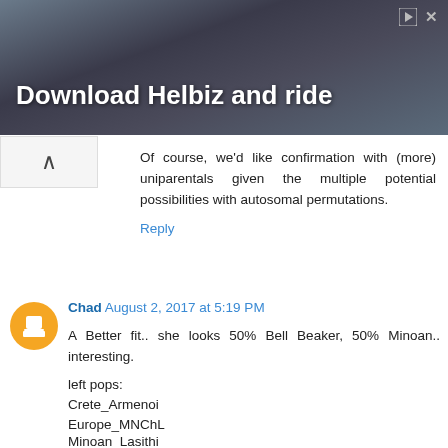[Figure (photo): Advertisement banner with dark background showing 'Download Helbiz and ride' text in white bold font, with close and play icons in top right corner]
Of course, we'd like confirmation with (more) uniparentals given the multiple potential possibilities with autosomal permutations.
Reply
Chad August 2, 2017 at 5:19 PM
A Better fit.. she looks 50% Bell Beaker, 50% Minoan.. interesting.
left pops:
Crete_Armenoi
Europe_MNChL
Minoan_Lasithi
Steppe_EMBA
right pops: